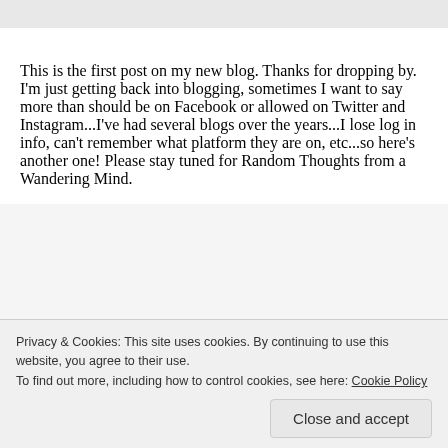This is the first post on my new blog. Thanks for dropping by. I'm just getting back into blogging, sometimes I want to say more than should be on Facebook or allowed on Twitter and Instagram...I've had several blogs over the years...I lose log in info, can't remember what platform they are on, etc...so here's another one! Please stay tuned for Random Thoughts from a Wandering Mind.
[Figure (other): Advertisement banner with dark navy background, a pink 'Start a survey' button on the left, and a circular white logo with teal 'CROW SIGNAL' text on the right]
Privacy & Cookies: This site uses cookies. By continuing to use this website, you agree to their use. To find out more, including how to control cookies, see here: Cookie Policy